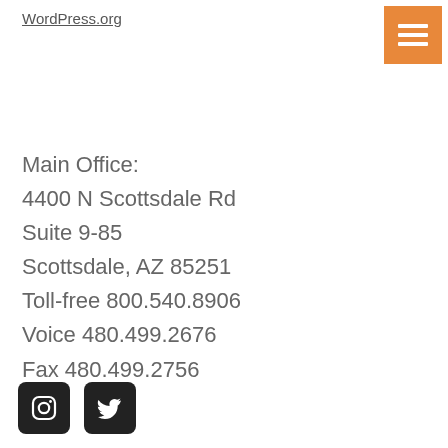WordPress.org
Main Office:
4400 N Scottsdale Rd
Suite 9-85
scottsdale, AZ 85251
Toll-free 800.540.8906
Voice 480.499.2676
Fax 480.499.2756
[Figure (other): Instagram and Twitter social media icons (black rounded square icons)]